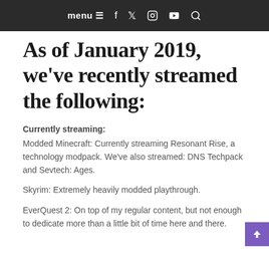menu ≡  f  🐦  📷  ▶  🔍
As of January 2019, we've recently streamed the following:
Currently streaming:
Modded Minecraft: Currently streaming Resonant Rise, a technology modpack. We've also streamed: DNS Techpack and Sevtech: Ages.
Skyrim: Extremely heavily modded playthrough.
EverQuest 2: On top of my regular content, but not enough to dedicate more than a little bit of time here and there.